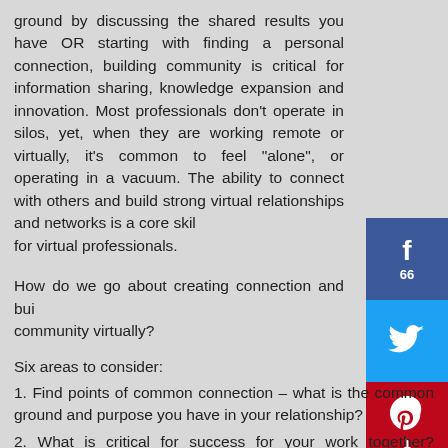ground by discussing the shared results you have OR starting with finding a personal connection, building community is critical for information sharing, knowledge expansion and innovation. Most professionals don't operate in silos, yet, when they are working remote or virtually, it's common to feel "alone", or operating in a vacuum. The ability to connect with others and build strong virtual relationships and networks is a core skill for virtual professionals.
How do we go about creating connection and building community virtually?
Six areas to consider:
1. Find points of common connection – what is the common ground and purpose you have in your relationship?
2. What is critical for success for your work together? Discuss what is important from each perspective in terms of success. Note what is similar and different.
3. Understand how people prefer to communicate – Big picture?